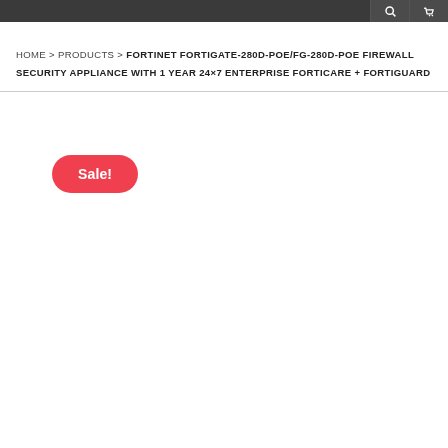HOME > PRODUCTS > FORTINET FORTIGATE-280D-POE/FG-280D-POE FIREWALL SECURITY APPLIANCE WITH 1 YEAR 24×7 ENTERPRISE FORTICARE + FORTIGUARD
Sale!